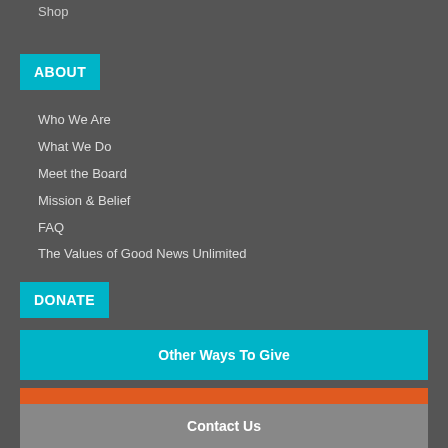Shop
ABOUT
Who We Are
What We Do
Meet the Board
Mission & Belief
FAQ
The Values of Good News Unlimited
DONATE
Other Ways To Give
Business Sponsorship
Contact Us